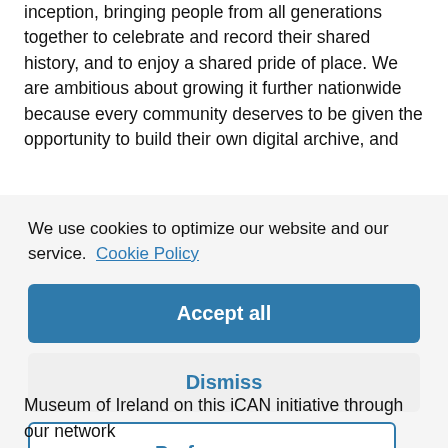inception, bringing people from all generations together to celebrate and record their shared history, and to enjoy a shared pride of place. We are ambitious about growing it further nationwide because every community deserves to be given the opportunity to build their own digital archive, and
We use cookies to optimize our website and our service. Cookie Policy
Accept all
Dismiss
Preferences
Museum of Ireland on this iCAN initiative through our network